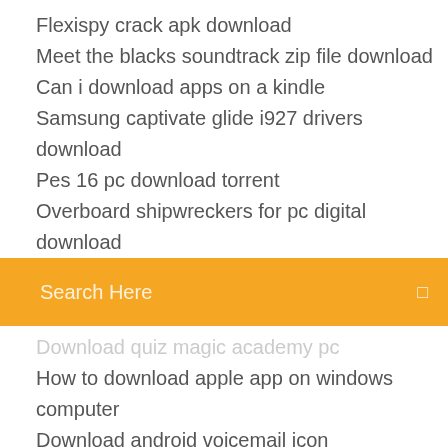Flexispy crack apk download
Meet the blacks soundtrack zip file download
Can i download apps on a kindle
Samsung captivate glide i927 drivers download
Pes 16 pc download torrent
Overboard shipwreckers for pc digital download
[Figure (screenshot): Orange search bar with 'Search Here' placeholder text and a search icon on the right]
Download quiz magic academy pc
How to download apple app on windows computer
Download android voicemail icon
Download torrent i am satsuna
Religious books pdf free download
The walking dead a new frontier ps4 download
Download android studio for window 8 64 bit
Clash of clans private server for pc download
Download minion mp4 moview
Teamviewer free download for android mobile
Best apps to download in canada